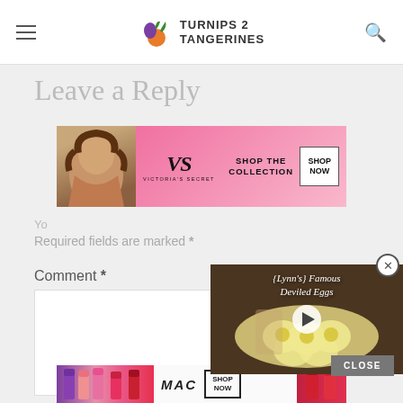Turnips 2 Tangerines
Leave a Reply
[Figure (photo): Victoria's Secret advertisement banner with model, VS logo, 'Shop the Collection' text, and 'Shop Now' button on pink background]
Yo
Required fields are marked *
Comment *
[Figure (screenshot): Video thumbnail showing '{Lynn's} Famous Deviled Eggs' with a play button overlay on food photo background]
CLOSE
[Figure (photo): MAC cosmetics advertisement banner with lipsticks and 'Shop Now' button]